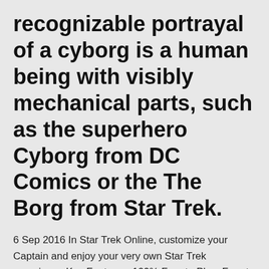recognizable portrayal of a cyborg is a human being with visibly mechanical parts, such as the superhero Cyborg from DC Comics or the The Borg from Star Trek.
6 Sep 2016 In Star Trek Online, customize your Captain and enjoy your very own Star Trek experience Key Features: 100% Free to Play: Free to download, free to play, no hidden pay Intrigue in the Final Frontier: We have a rich story line that unfolds over 125 Game is full of bugs and the Devs refuse to fix them . 21 Jul 2016 Attention all Star Trek Adventures Gamemasters and Players! Please complete the following short survey and help us select some and PDF on Modiphius.net as part